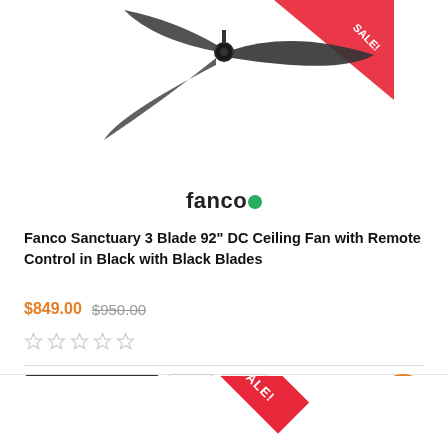[Figure (photo): Ceiling fan with 3 black blades on black mount, viewed from below at angle, product photo on white background. Partial red sale ribbon visible at top.]
[Figure (logo): Fanco brand logo: text 'fanco' in dark color followed by a green circle dot]
Fanco Sanctuary 3 Blade 92" DC Ceiling Fan with Remote Control in Black with Black Blades
$849.00 $950.00
[Figure (other): Five empty star rating icons (0 out of 5 stars)]
Add To Cart
[Figure (other): Partial red SALE! diagonal ribbon banner at the bottom of the page]